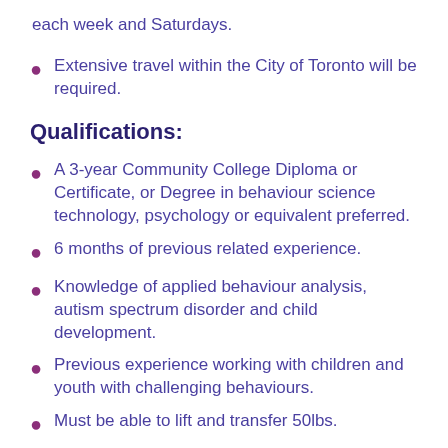each week and Saturdays.
Extensive travel within the City of Toronto will be required.
Qualifications:
A 3-year Community College Diploma or Certificate, or Degree in behaviour science technology, psychology or equivalent preferred.
6 months of previous related experience.
Knowledge of applied behaviour analysis, autism spectrum disorder and child development.
Previous experience working with children and youth with challenging behaviours.
Must be able to lift and transfer 50lbs.
Successful completion of Safe Management Group…